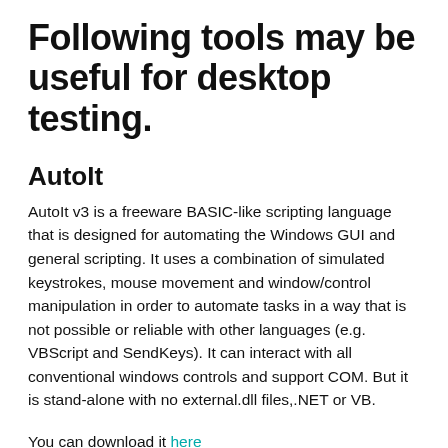Following tools may be useful for desktop testing.
AutoIt
AutoIt v3 is a freeware BASIC-like scripting language that is designed for automating the Windows GUI and general scripting. It uses a combination of simulated keystrokes, mouse movement and window/control manipulation in order to automate tasks in a way that is not possible or reliable with other languages (e.g. VBScript and SendKeys). It can interact with all conventional windows controls and support COM. But it is stand-alone with no external.dll files,.NET or VB.
You can download it here